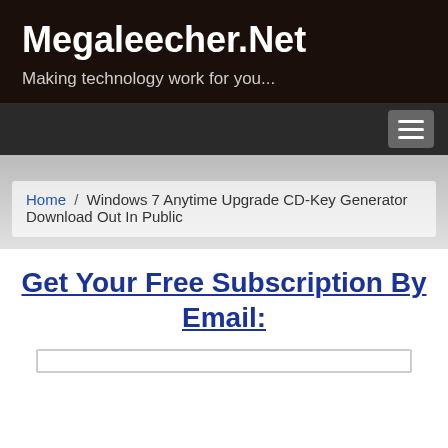Megaleecher.Net
Making technology work for you...
Home / Windows 7 Anytime Upgrade CD-Key Generator Download Out In Public
Get Your Free Subscription By Email: